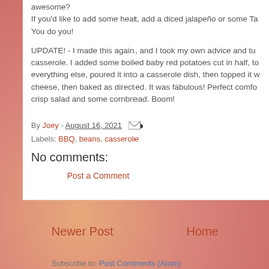awesome?
If you'd like to add some heat, add a diced jalapeño or some Ta
You do you!
UPDATE! - I made this again, and I took my own advice and tu casserole. I added some boiled baby red potatoes cut in half, to everything else, poured it into a casserole dish, then topped it w cheese, then baked as directed. It was fabulous! Perfect comfo crisp salad and some cornbread. Boom!
By Joey - August 16, 2021
Labels: BBQ, beans, casserole
No comments:
Post a Comment
Newer Post
Home
Subscribe to: Post Comments (Atom)